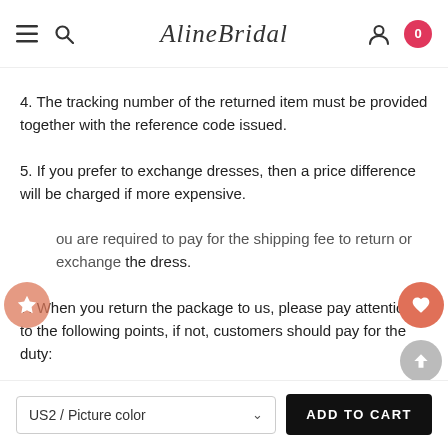AlineBridal
4. The tracking number of the returned item must be provided together with the reference code issued.
5. If you prefer to exchange dresses, then a price difference will be charged if more expensive.
6. You are required to pay for the shipping fee to return or exchange the dress.
7. When you return the package to us, please pay attention to the following points, if not, customers should pay for the duty: